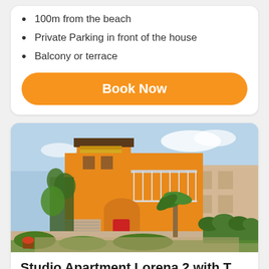100m from the beach
Private Parking in front of the house
Balcony or terrace
Book Now
[Figure (photo): Exterior photo of a multi-storey orange/yellow apartment building with balconies, a red entrance door, palm trees, garden, and hedges in the foreground under a blue sky]
Studio Apartment Lorena 2 with T...